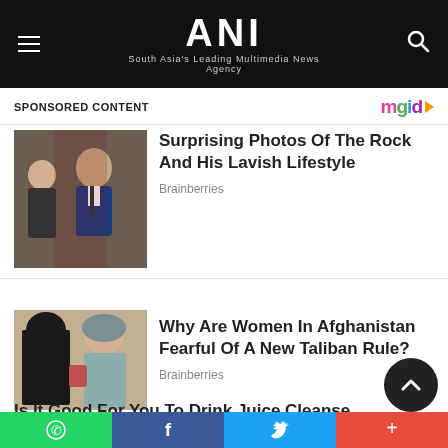ANI — South Asia's Leading Multimedia News Agency
SPONSORED CONTENT
[Figure (logo): mgid logo with play icon]
[Figure (photo): A bald man in a blue tuxedo at an event]
Surprising Photos Of The Rock And His Lavish Lifestyle
Brainberries
[Figure (photo): Two women in headscarves in Afghanistan]
Why Are Women In Afghanistan Fearful Of A New Taliban Rule?
Brainberries
Is It Good For You To Drink Juice Cleanse
Herbeauty